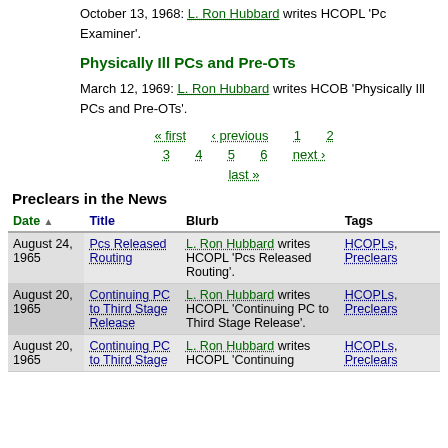October 13, 1968: L. Ron Hubbard writes HCOPL 'Pc Examiner'.
Physically Ill PCs and Pre-OTs
March 12, 1969: L. Ron Hubbard writes HCOB 'Physically Ill PCs and Pre-OTs'.
« first  ‹ previous  1  2  3  4  5  6  next ›  last »
Preclears in the News
| Date | Title | Blurb | Tags |
| --- | --- | --- | --- |
| August 24, 1965 | Pcs Released Routing | L. Ron Hubbard writes HCOPL 'Pcs Released Routing'. | HCOPLs, Preclears |
| August 20, 1965 | Continuing PC to Third Stage Release | L. Ron Hubbard writes HCOPL 'Continuing PC to Third Stage Release'. | HCOPLs, Preclears |
| August 20, 1965 | Continuing PC to Third Stage | L. Ron Hubbard writes HCOPL 'Continuing | HCOPLs, Preclears |